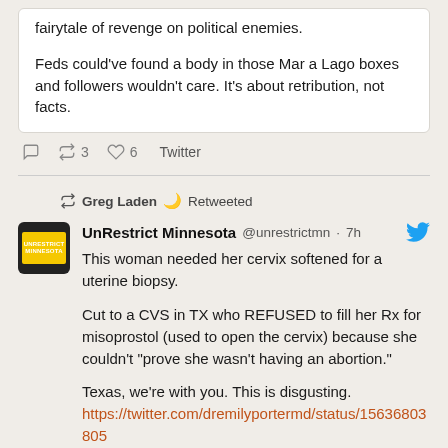fairytale of revenge on political enemies.

Feds could've found a body in those Mar a Lago boxes and followers wouldn't care. It's about retribution, not facts.
3  6  Twitter
Greg Laden 🌙 Retweeted
UnRestrict Minnesota @unrestrictmn · 7h
This woman needed her cervix softened for a uterine biopsy.

Cut to a CVS in TX who REFUSED to fill her Rx for misoprostol (used to open the cervix) because she couldn't "prove she wasn't having an abortion."

Texas, we're with you. This is disgusting.
https://twitter.com/dremilyportermd/status/156368038056 5172224